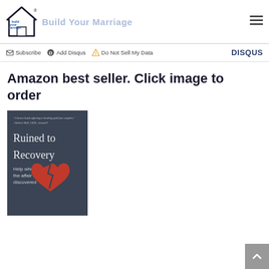build your marriage! [site header with logo and hamburger menu]
Subscribe  Add Disqus  Do Not Sell My Data    DISQUS
Amazon best seller. Click image to order
[Figure (photo): Book cover of 'Ruined to Recovery – Help when the affair is discovered' showing a broken red heart on a dark background, with a quote 'A brave book offering a healing path for couples.' – Valerie Bell, CEO, Awana]